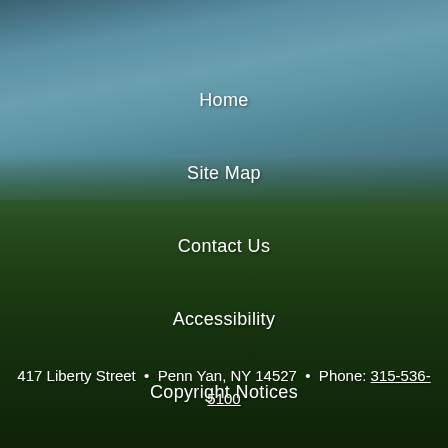[Figure (photo): Aerial landscape photograph showing a large lake or bay with blue water in the upper portion, and forested green hillsides in the lower portion. Likely a view of Keuka Lake or similar Finger Lakes region lake in New York state.]
Home
Site Map
Contact Us
Accessibility
Copyright Notices
Privacy Policy
Government Websites by CivicPlus®
417 Liberty Street  •  Penn Yan, NY 14527  •  Phone: 315-536-5100